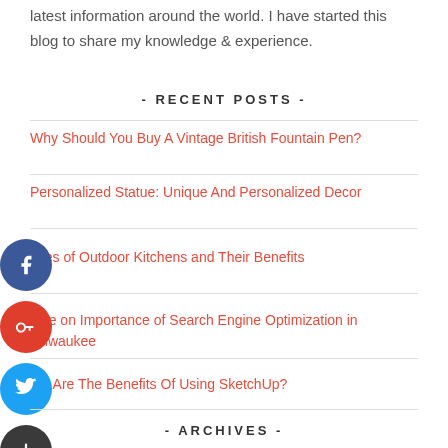latest information around the world. I have started this blog to share my knowledge & experience.
- RECENT POSTS -
Why Should You Buy A Vintage British Fountain Pen?
Personalized Statue: Unique And Personalized Decor
ypes of Outdoor Kitchens and Their Benefits
uide on Importance of Search Engine Optimization in Milwaukee
hat Are The Benefits Of Using SketchUp?
- ARCHIVES -